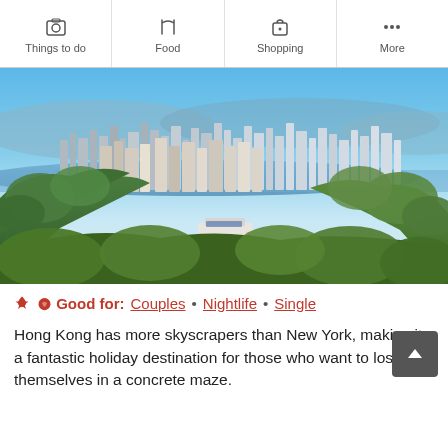Things to do | Food | Shopping | More
[Figure (photo): Aerial panoramic view of Hong Kong skyline with skyscrapers surrounded by lush green hills and a red building in the foreground, harbor and mountains in the background under a blue sky.]
Good for: Couples • Nightlife • Single
Hong Kong has more skyscrapers than New York, making it a fantastic holiday destination for those who want to lose themselves in a concrete maze.